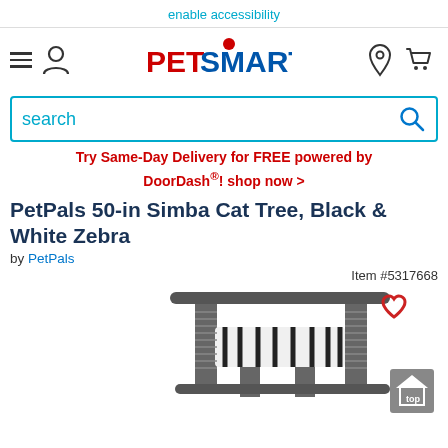enable accessibility
[Figure (logo): PetSmart logo with hamburger menu, user icon, location icon, and cart icon navigation bar]
search
Try Same-Day Delivery for FREE powered by DoorDash®! shop now >
PetPals 50-in Simba Cat Tree, Black & White Zebra
by PetPals
Item #5317668
[Figure (photo): Cat tree product photo showing a dark grey cat tree with black and white zebra print cushion/hammock, multiple platforms and sisal-wrapped posts]